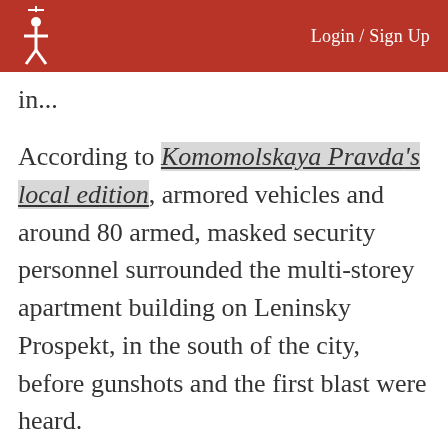Login / Sign Up
in...
According to Komomolskaya Pravda's local edition, armored vehicles and around 80 armed, masked security personnel surrounded the multi-storey apartment building on Leninsky Prospekt, in the south of the city, before gunshots and the first blast were heard.
A witness in the opposite building told KP that the blast sounded like a stun